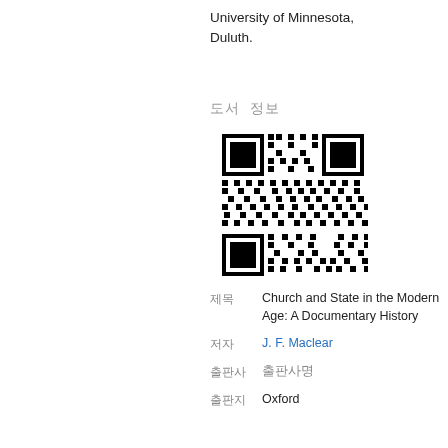University of Minnesota, Duluth.
도서 정보
[Figure (other): QR code linking to book or library record]
| 제목 | Church and State in the Modern Age: A Documentary History |
| 저자 | J. F. Maclear |
| 출판사 | 출판사명 |
| 출판지 | Oxford |